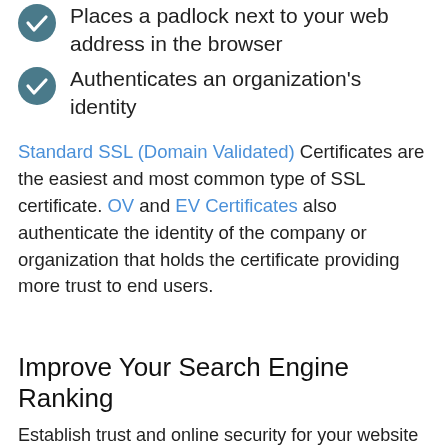Places a padlock next to your web address in the browser
Authenticates an organization's identity
Standard SSL (Domain Validated) Certificates are the easiest and most common type of SSL certificate. OV and EV Certificates also authenticate the identity of the company or organization that holds the certificate providing more trust to end users.
Improve Your Search Engine Ranking
Establish trust and online security for your website visitors and business.